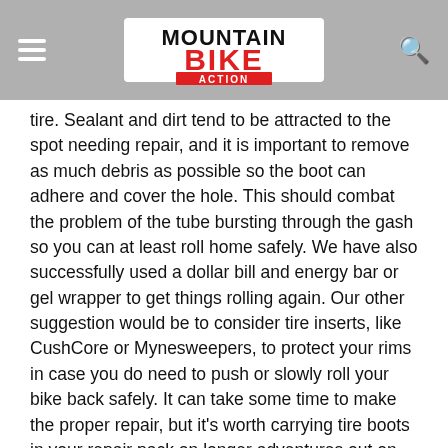Mountain Bike Action (logo)
tire. Sealant and dirt tend to be attracted to the spot needing repair, and it is important to remove as much debris as possible so the boot can adhere and cover the hole. This should combat the problem of the tube bursting through the gash so you can at least roll home safely. We have also successfully used a dollar bill and energy bar or gel wrapper to get things rolling again. Our other suggestion would be to consider tire inserts, like CushCore or Mynesweepers, to protect your rims in case you do need to push or slowly roll your bike back safely. It can take some time to make the proper repair, but it’s worth carrying tire boots in your repair pack on longer adventures out on the trails.